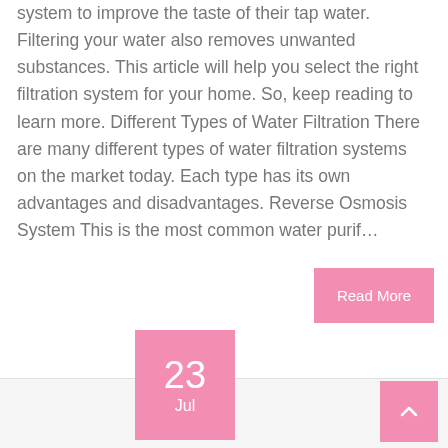system to improve the taste of their tap water. Filtering your water also removes unwanted substances. This article will help you select the right filtration system for your home. So, keep reading to learn more. Different Types of Water Filtration There are many different types of water filtration systems on the market today. Each type has its own advantages and disadvantages. Reverse Osmosis System This is the most common water purif...
Read More
23 Jul